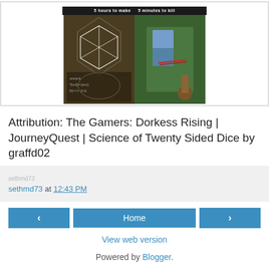[Figure (photo): A meme image split into two panels: left panel shows a person with a D20 die and math equations (The Gamers / Science of Twenty Sided Dice), right panel shows a person in fantasy costume (JourneyQuest), with a dark text bar at the top reading '5 hours to make | 5 minutes to kill']
Attribution: The Gamers: Dorkess Rising | JourneyQuest | Science of Twenty Sided Dice by graffd02
sethmd73 at 12:43 PM
‹ | Home | ›
View web version
Powered by Blogger.